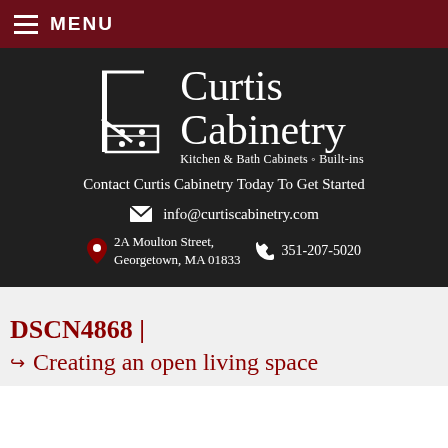MENU
[Figure (logo): Curtis Cabinetry logo with cabinet drawing graphic, text 'Curtis Cabinetry Kitchen & Bath Cabinets o Built-ins']
Contact Curtis Cabinetry Today To Get Started
info@curtiscabinetry.com
2A Moulton Street, Georgetown, MA 01833   351-207-5020
DSCN4868 |
Creating an open living space